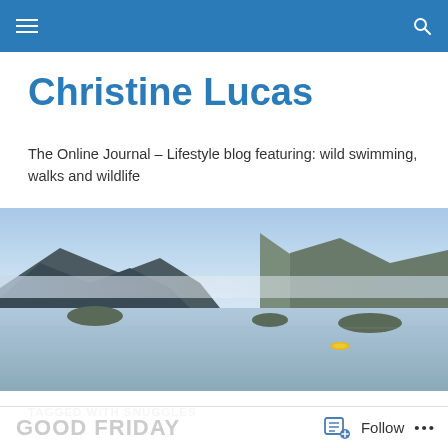Christine Lucas – navigation bar
Christine Lucas
The Online Journal – Lifestyle blog featuring: wild swimming, walks and wildlife
[Figure (photo): Wide landscape photo of a calm lake with mountains in the background, light mist, a small yellow kayak on the water, blue sky.]
TAGGED WITH SNUGGLES
GOOD FRIDAY  Follow  ...